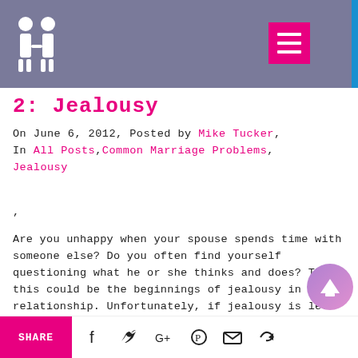2: Jealousy — blog post header with logo and menu button
2: Jealousy
On June 6, 2012, Posted by Mike Tucker, In All Posts,Common Marriage Problems, Jealousy
,
Are you unhappy when your spouse spends time with someone else? Do you often find yourself questioning what he or she thinks and does? Then this could be the beginnings of jealousy in your relationship. Unfortunately, if jealousy is left unchecked it can ruin your marriage, and even ext beyond...
SHARE [social icons: facebook, twitter, google+, pinterest, email, other]